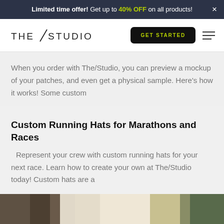Limited time offer! Get up to 40% OFF on all products! ×
[Figure (logo): The/Studio logo with stylized forward slash]
GET STARTED button and hamburger menu
When you order with The/Studio, you can preview a mockup of your patches, and even get a physical sample. Here's how it works! Some custom
Custom Running Hats for Marathons and Races
Represent your crew with custom running hats for your next race. Learn how to create your own at The/Studio today! Custom hats are a
[Figure (photo): Partial image of a person or scene visible at the bottom of the page]